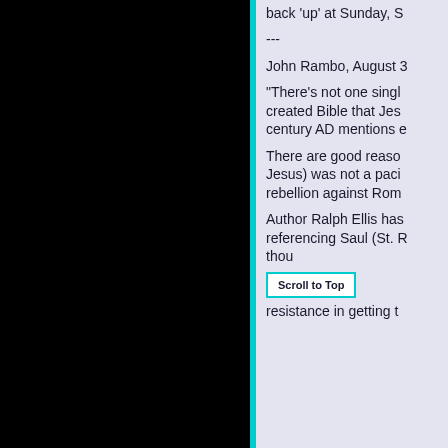back 'up' at Sunday, S
---
John Rambo, August 3
"There's not one single created Bible that Jesu century AD mentions e
There are good reaso Jesus) was not a paci rebellion against Rom
Author Ralph Ellis has referencing Saul (St. R thou resistance in getting t
[Figure (other): Scroll to Top button with teal border]